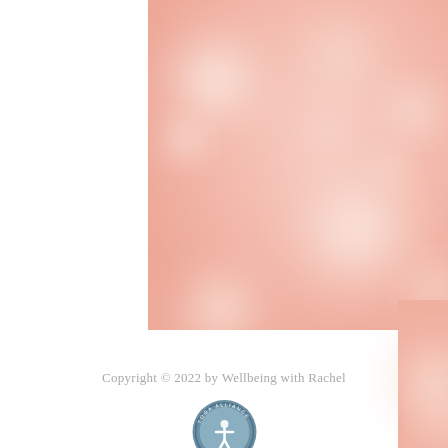[Figure (photo): Blurred bokeh background image with soft pink and cream tones, featuring several out-of-focus circular light spots of varying sizes. A white panel overlaps the lower portion of the image.]
Copyright © 2022 by Wellbeing with Rachel
[Figure (logo): Yoga Alliance circular badge/seal logo in blue-grey tones, partially visible at the bottom of the page.]